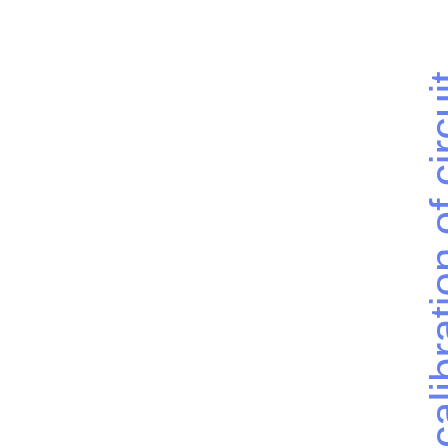calibration of circuit breakers and publication of trading halts under MiFID II (ESMA70-...